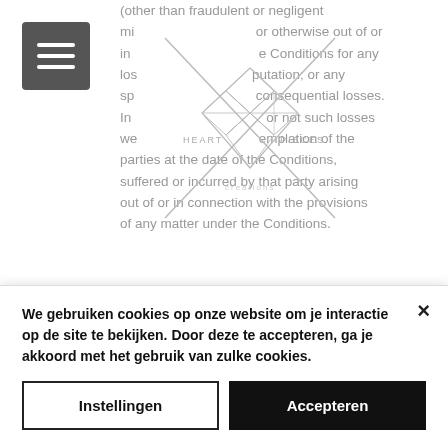[Figure (logo): Heart Pieces Creations logo — diamond/triangle geometric pattern with X crossing lines, text 'HEART PIECES creations']
(other than fraudulent or negligent misrepresentation) or otherwise out of or in connection with the Conditions for any loss of profits; loss of reputation; or any special, indirect or consequential losses. In no event shall [company] whether or not such losses were in the contemplation of the parties at the date of the Conditions, suffered or incurred by that party arising out of or in connection with the provisions of any matter under the Conditions.
Severance
If any part of the Conditions shall be deemed unlawful, void or for any reason
We gebruiken cookies op onze website om je interactie op de site te bekijken. Door deze te accepteren, ga je akkoord met het gebruik van zulke cookies.